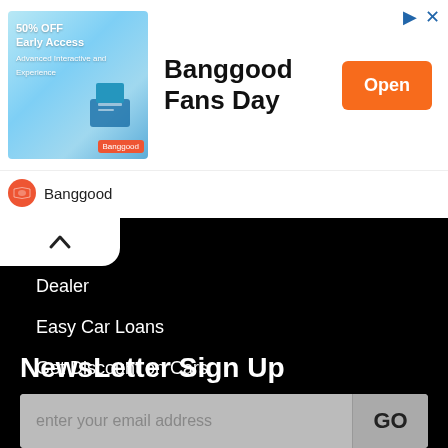[Figure (screenshot): Banggood advertisement banner with product image showing 50% OFF Early Access, title 'Banggood Fans Day', orange Open button, and Banggood brand logo below]
Dealer
Easy Car Loans
Get Discount on Cars
Insurance
Buy Used Car
Car Videos
NewsLetter Sign Up
enter your email address